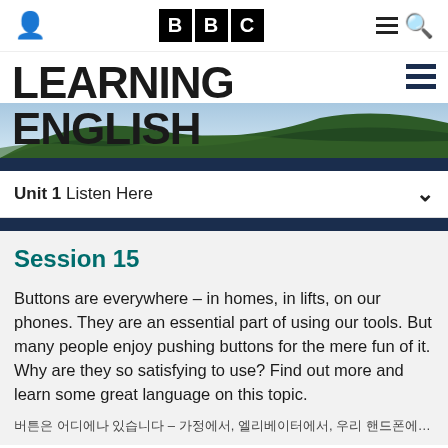BBC
LEARNING ENGLISH
Unit 1 Listen Here
Session 15
Buttons are everywhere – in homes, in lifts, on our phones. They are an essential part of using our tools. But many people enjoy pushing buttons for the mere fun of it. Why are they so satisfying to use? Find out more and learn some great language on this topic.
버튼은 어디에나 있습니다 – 가정에서, 엘리베이터에서, 우리 핸드폰에도. 버튼은 도구를